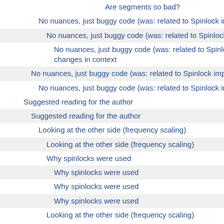Are segments so bad?
No nuances, just buggy code (was: related to Spinlock implementation and...
No nuances, just buggy code (was: related to Spinlock implementation an...
No nuances, just buggy code (was: related to Spinlock implementation a... changes in context
No nuances, just buggy code (was: related to Spinlock implementation and t...
No nuances, just buggy code (was: related to Spinlock implementation and...
Suggested reading for the author
Suggested reading for the author
Looking at the other side (frequency scaling)
Looking at the other side (frequency scaling)
Why spinlocks were used
Why spinlocks were used
Why spinlocks were used
Why spinlocks were used
Looking at the other side (frequency scaling)
Cross-platform code
Cross-platform code
Cross-platform code
Cross-platform code
Cross-platform code
Cross-platform code
SRW lock implementation